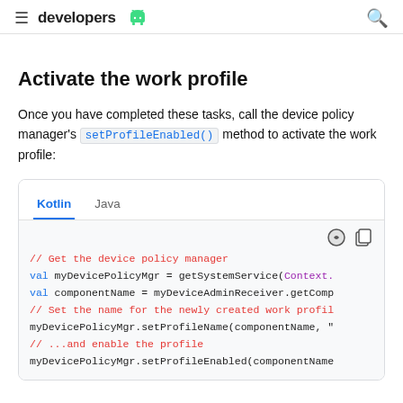developers
Activate the work profile
Once you have completed these tasks, call the device policy manager's setProfileEnabled() method to activate the work profile:
[Figure (screenshot): Code block showing Kotlin and Java tabs with Kotlin code sample for activating a work profile using setProfileEnabled()]